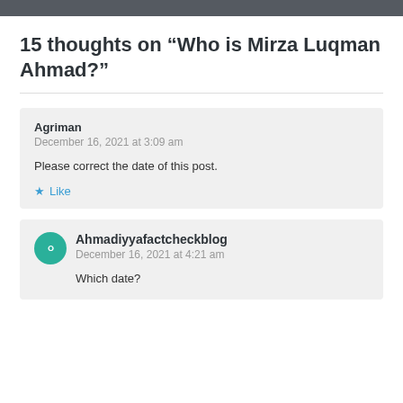15 thoughts on “Who is Mirza Luqman Ahmad?”
Agriman
December 16, 2021 at 3:09 am

Please correct the date of this post.

★ Like
Ahmadiyyafactcheckblog
December 16, 2021 at 4:21 am

Which date?